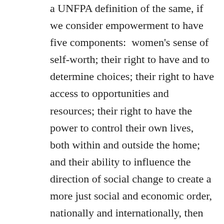a UNFPA definition of the same, if we consider empowerment to have five components:  women's sense of self-worth; their right to have and to determine choices; their right to have access to opportunities and resources; their right to have the power to control their own lives, both within and outside the home; and their ability to influence the direction of social change to create a more just social and economic order, nationally and internationally, then the reasons informing the need to empower women are clear. To ensure the advancement of half the population of the world, it's a moral imperative to empower them. Gender bias is still deeply embedded in cultures, economies, political and social institutions around the world. Women and girls face unacceptable levels of discrimination and abuse,